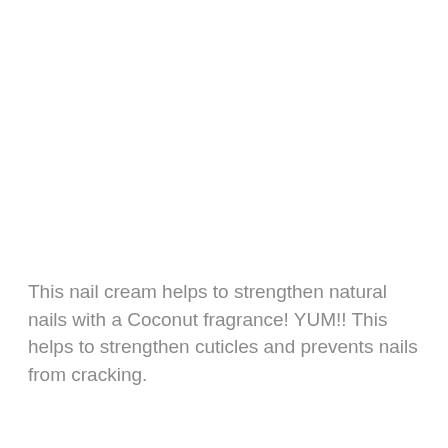This nail cream helps to strengthen natural nails with a Coconut fragrance! YUM!! This helps to strengthen cuticles and prevents nails from cracking.